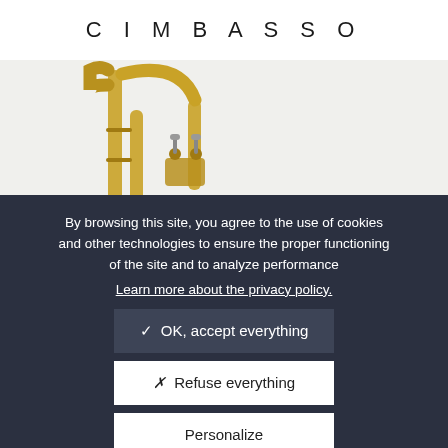CIMBASSO
[Figure (photo): Photo of a brass musical instrument (cimbasso/trombone) on a light grey background, showing the tubing and valve section in gold/brass finish.]
By browsing this site, you agree to the use of cookies and other technologies to ensure the proper functioning of the site and to analyze performance
Learn more about the privacy policy.
✓ OK, accept everything
✗ Refuse everything
Personalize